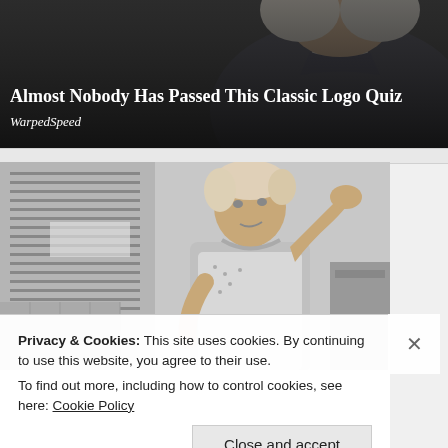[Figure (photo): Top banner card showing a stylized illustrated character (appears to be a historical figure with white wig and dark coat) with overlaid text. Dark gradient background.]
Almost Nobody Has Passed This Classic Logo Quiz
WarpedSpeed
[Figure (photo): Black and white vintage photograph of a woman in an apron, hand raised to her forehead, standing in a kitchen with venetian blinds visible in the background.]
Privacy & Cookies: This site uses cookies. By continuing to use this website, you agree to their use.
To find out more, including how to control cookies, see here: Cookie Policy